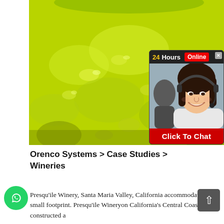[Figure (photo): Close-up photo of yellow-green powder (sulfur or similar) in a glass bowl, with a '24Hours Online - Click To Chat' live support widget overlaid on the right side showing a smiling female agent with headset]
Orenco Systems > Case Studies > Wineries
Presqu'ile Winery, Santa Maria Valley, California accommodating a small footprint. Presqu'ile Wineryon California's Central Coast constructed a